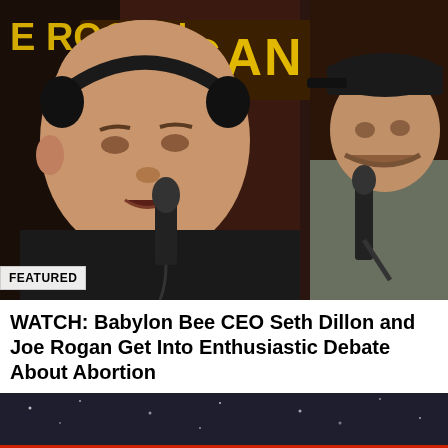[Figure (photo): Two men in a podcast studio. The man on the left is bald with headphones and a black shirt speaking into a microphone. The man on the right wears a dark cap and grey hoodie speaking into a microphone. Background shows neon 'Joe Rogan Experience' signage in yellow and red.]
FEATURED
WATCH: Babylon Bee CEO Seth Dillon and Joe Rogan Get Into Enthusiastic Debate About Abortion
[Figure (photo): Dark background image, partially visible, appears to be space or dark studio.]
Exclusive Content: More Info On FBI Raid